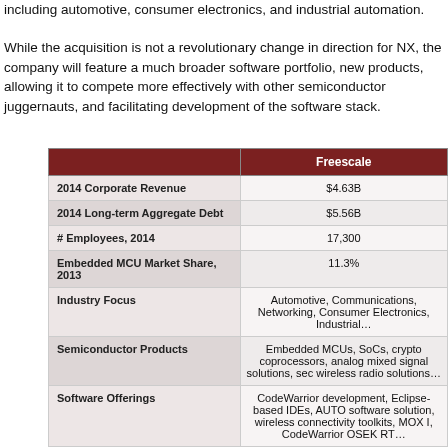including automotive, consumer electronics, and industrial automation.
While the acquisition is not a revolutionary change in direction for NX, the company will feature a much broader software portfolio, new products, allowing it to compete more effectively with other semiconductor juggernauts, and facilitating development of the software stack.
|  | Freescale |
| --- | --- |
| 2014 Corporate Revenue | $4.63B |
| 2014 Long-term Aggregate Debt | $5.56B |
| # Employees, 2014 | 17,300 |
| Embedded MCU Market Share, 2013 | 11.3% |
| Industry Focus | Automotive, Communications, Networking, Consumer Electronics, Industrial... |
| Semiconductor Products | Embedded MCUs, SoCs, crypto coprocessors, analog mixed signal solutions, sec wireless radio solutions... |
| Software Offerings | CodeWarrior development, Eclipse-based IDEs, AUTOSAR software solution, wireless connectivity toolkits, MOX I, CodeWarrior OSEK RT... |